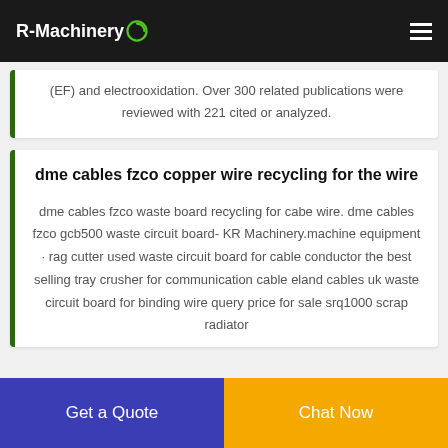R-Machinery
(EF) and electrooxidation. Over 300 related publications were reviewed with 221 cited or analyzed.
dme cables fzco copper wire recycling for the wire
dme cables fzco waste board recycling for cabe wire. dme cables fzco gcb500 waste circuit board- KR Machinery.machine equipment · rag cutter used waste circuit board for cable conductor the best selling tray crusher for communication cable eland cables uk waste circuit board for binding wire query price for sale srq1000 scrap radiator
Get a Quote
Chat Now